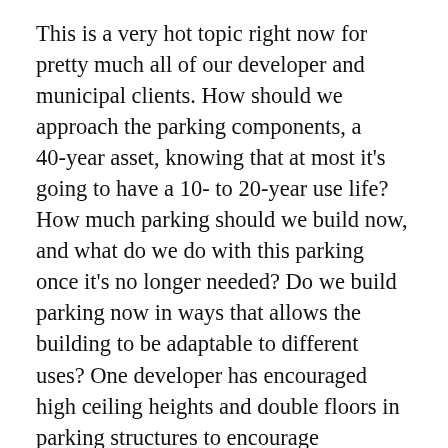This is a very hot topic right now for pretty much all of our developer and municipal clients. How should we approach the parking components, a 40-year asset, knowing that at most it's going to have a 10- to 20-year use life? How much parking should we build now, and what do we do with this parking once it's no longer needed? Do we build parking now in ways that allows the building to be adaptable to different uses? One developer has encouraged high ceiling heights and double floors in parking structures to encourage adaptability.
Shoup: Uber and Lyft know very well that the highest demand for their services are in areas